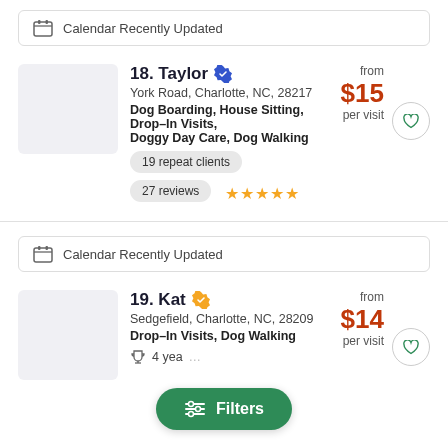Calendar Recently Updated
18. Taylor — York Road, Charlotte, NC, 28217 — Dog Boarding, House Sitting, Drop-In Visits, Doggy Day Care, Dog Walking — from $15 per visit — 19 repeat clients — 27 reviews ★★★★★
Calendar Recently Updated
19. Kat — Sedgefield, Charlotte, NC, 28209 — Drop-In Visits, Dog Walking — from $14 per visit — 4 years
Filters